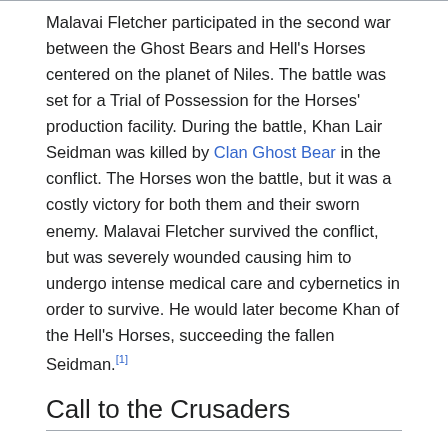Malavai Fletcher participated in the second war between the Ghost Bears and Hell's Horses centered on the planet of Niles. The battle was set for a Trial of Possession for the Horses' production facility. During the battle, Khan Lair Seidman was killed by Clan Ghost Bear in the conflict. The Horses won the battle, but it was a costly victory for both them and their sworn enemy. Malavai Fletcher survived the conflict, but was severely wounded causing him to undergo intense medical care and cybernetics in order to survive. He would later become Khan of the Hell's Horses, succeeding the fallen Seidman.[1]
Call to the Crusaders
After Fletcher became Khan, he changed many of the Warden policies of the Hell's Horses into Crusader lines. The Clan's warriors would later be described as "Wardens lead by Crusaders", changing the shift in the Clan's ideology from Warden to Crusader.[2]